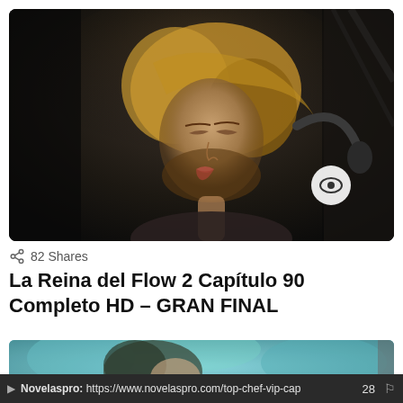[Figure (photo): Dark cinematic still showing a woman with blonde hair leaning back with eyes closed, wearing a dark outfit, in a dimly lit interior scene. A circular eye icon/play button overlay is visible in the lower right area of the image.]
82 Shares
La Reina del Flow 2 Capítulo 90 Completo HD – GRAN FINAL
[Figure (photo): Blurred cinematic still showing a person with dark curly hair in a teal/green-lit outdoor scene.]
Novelaspro: https://www.novelaspro.com/top-chef-vip-cap  28